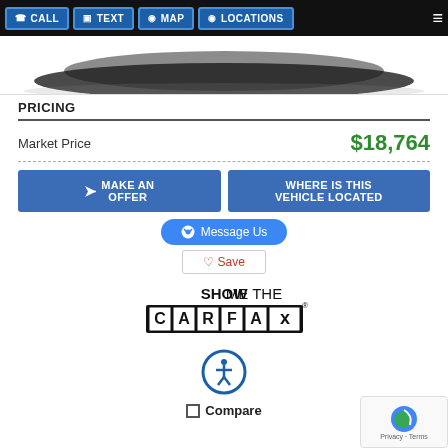CALL  TEXT  MAP  LOCATIONS
[Figure (photo): Bottom portion of a dark/black vehicle on white background]
PRICING
| Market Price | $18,764 |
MAKE AN OFFER
WHERE IS THIS VEHICLE LOCATED
Message Us
Save
[Figure (logo): SHOW ME THE CARFAX logo]
[Figure (illustration): Accessibility icon - person in circle]
Compare